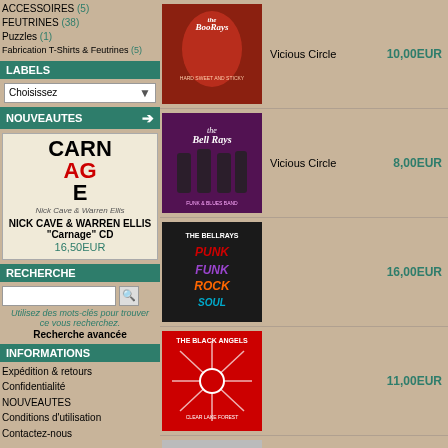ACCESSOIRES (5)
FEUTRINES (38)
Puzzles (1)
Fabrication T-Shirts & Feutrines (5)
LABELS
Choisissez
NOUVEAUTES
[Figure (photo): NICK CAVE & WARREN ELLIS Carnage CD cover - text says CARNAGE in large letters]
NICK CAVE & WARREN ELLIS "Carnage" CD
16,50EUR
RECHERCHE
Utilisez des mots-clés pour trouver ce vous recherchez.
Recherche avancée
INFORMATIONS
Expédition & retours
Confidentialité
NOUVEAUTES
Conditions d'utilisation
Contactez-nous
[Figure (photo): The BellRays album cover - Hard Sweet and Sticky]
Vicious Circle
10,00EUR
[Figure (photo): The BellRays album cover - band photo with purple background]
Vicious Circle
8,00EUR
[Figure (photo): The BellRays - Punk Funk Rock Soul album cover]
16,00EUR
[Figure (photo): The Black Angels - Clear Lake Forest album cover]
11,00EUR
[Figure (photo): The Black Angels album cover - geometric pattern]
18,00EUR